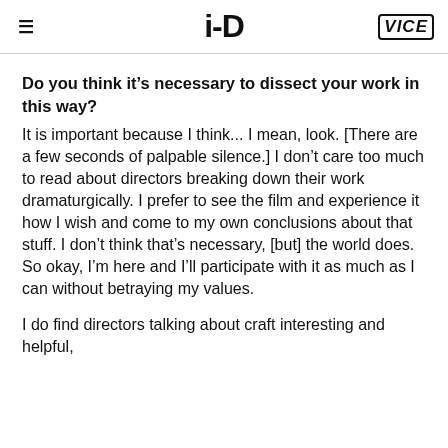i-D  VICE
Do you think it’s necessary to dissect your work in this way?
It is important because I think... I mean, look. [There are a few seconds of palpable silence.] I don’t care too much to read about directors breaking down their work dramaturgically. I prefer to see the film and experience it how I wish and come to my own conclusions about that stuff. I don’t think that’s necessary, [but] the world does. So okay, I’m here and I’ll participate with it as much as I can without betraying my values.
I do find directors talking about craft interesting and helpful,